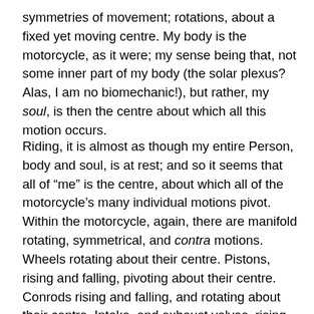symmetries of movement; rotations, about a fixed yet moving centre. My body is the motorcycle, as it were; my sense being that, not some inner part of my body (the solar plexus? Alas, I am no biomechanic!), but rather, my soul, is then the centre about which all this motion occurs.
Riding, it is almost as though my entire Person, body and soul, is at rest; and so it seems that all of “me” is the centre, about which all of the motorcycle’s many individual motions pivot. Within the motorcycle, again, there are manifold rotating, symmetrical, and contra motions. Wheels rotating about their centre. Pistons, rising and falling, pivoting about their centre. Conrods rising and falling, and rotating about their centre. Intake, and exhaust valves, rising and falling in opposite motions. Et cetera et cetera.